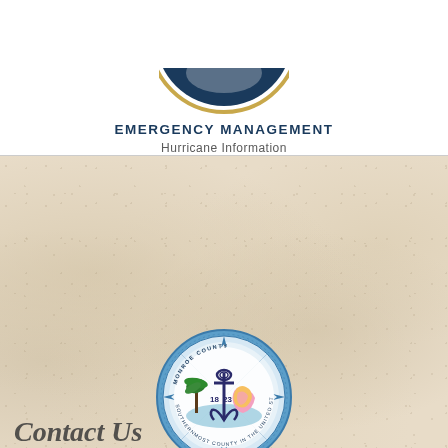[Figure (logo): Partial circular logo with navy blue and gold ring at top of page, partially cropped]
EMERGENCY MANAGEMENT
Hurricane Information
[Figure (logo): Monroe County Florida official circular seal with palm tree, anchor, conch shell, blue border, year 1823]
MONROE COUNTY
FLORIDA
[Figure (other): Google Translate widget button with G logo and 'Select Language' dropdown]
Contact Us